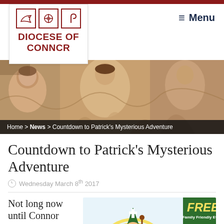[Figure (logo): Diocese of Connor logo with three Celtic/religious icons above the text]
≡ Menu
[Figure (photo): Fresco painting showing religious figures in earth tones]
Home > News > Countdown to Patrick's Mysterious Adventure
Countdown to Patrick's Mysterious Adventure
Wednesday March 8th 2017
Not long now until Connor
[Figure (illustration): Promotional illustration for Patrick's Mysterious Adventure event. Shows a cartoon St. Patrick figure with a FREE Family Friendly Event badge, and text about discovering the adventurous life story of St. Patrick from his kidnap by Irish pirates to his return to serve the people of Ireland that he loved so well.]